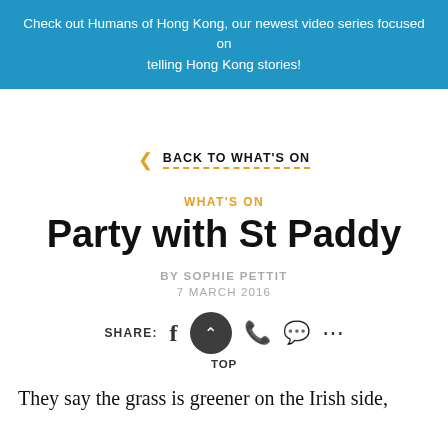Check out Humans of Hong Kong, our newest video series focused on telling Hong Kong stories!
< BACK TO WHAT'S ON
WHAT'S ON
Party with St Paddy
BY SOPHIE PETTIT
7 MARCH 2016
SHARE: [social icons] TOP
They say the grass is greener on the Irish side,